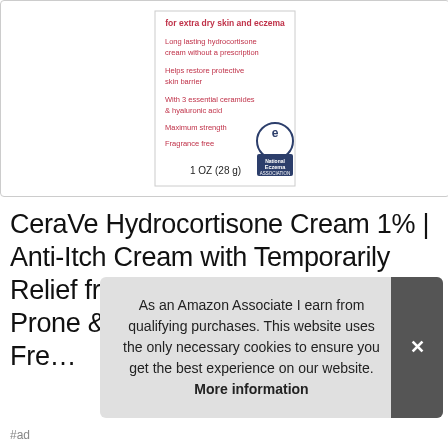[Figure (photo): CeraVe Hydrocortisone Cream 1% product box showing text: 'for extra dry skin and eczema', 'Long lasting hydrocortisone cream without a prescription', 'Helps restore protective skin barrier', 'With 3 essential ceramides & hyaluronic acid', 'Maximum strength', 'Fragrance free', '1 OZ (28 g)', National Eczema Association seal]
CeraVe Hydrocortisone Cream 1% | Anti-Itch Cream with Temporarily Relief from Rashes with Eczema-Prone & Dry Sk... Fre...
As an Amazon Associate I earn from qualifying purchases. This website uses the only necessary cookies to ensure you get the best experience on our website. More information
#ad